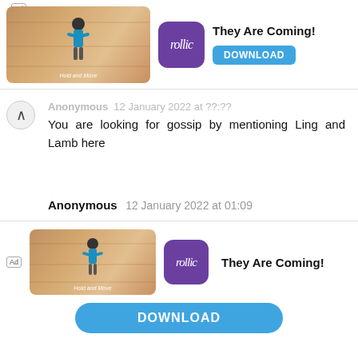[Figure (screenshot): Top advertisement banner for 'They Are Coming!' game by Rollic, with a DOWNLOAD button]
You are looking for gossip by mentioning Ling and Lamb here
Anonymous 12 January 2022 at 01:09
Stop using people curated social media presence as your benchmark. Grow up.
Anonymous 12 January 2022 at 07:29
01:09 please tell them. Naivety of the highest
[Figure (screenshot): Bottom advertisement banner for 'They Are Coming!' game by Rollic, with a DOWNLOAD button]